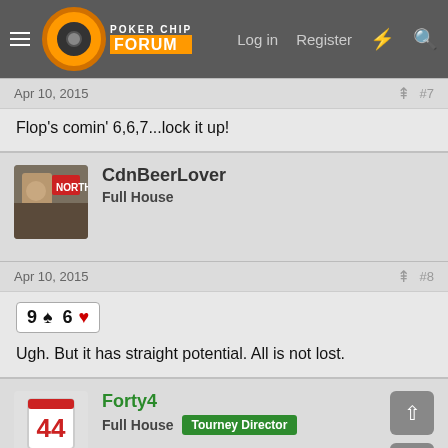Poker Chip Forum — Log in | Register
Apr 10, 2015   #7
Flop's comin' 6,6,7...lock it up!
CdnBeerLover — Full House
Apr 10, 2015   #8
9♠ 6♥
Ugh. But it has straight potential. All is not lost.
Forty4 — Full House — Tourney Director
Apr 10, 2015   #9
Not sure if you'll allow this entry, I'm out of town and can't find a